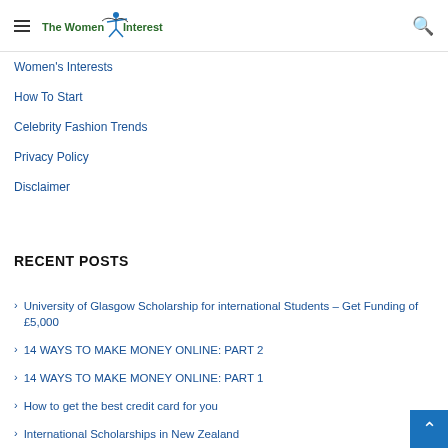The Women Interest
Women's Interests
How To Start
Celebrity Fashion Trends
Privacy Policy
Disclaimer
RECENT POSTS
University of Glasgow Scholarship for international Students – Get Funding of £5,000
14 WAYS TO MAKE MONEY ONLINE: PART 2
14 WAYS TO MAKE MONEY ONLINE: PART 1
How to get the best credit card for you
International Scholarships in New Zealand